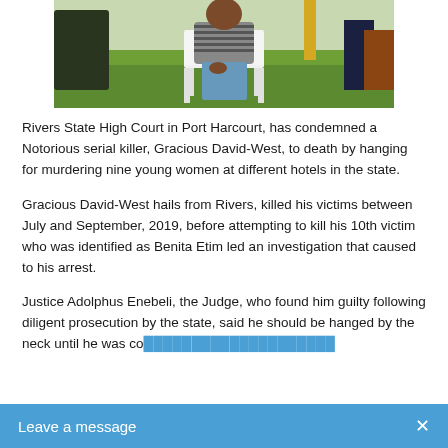[Figure (photo): A man in a striped shirt sitting on a white plastic chair outdoors on grass, with other people partially visible around him.]
Rivers State High Court in Port Harcourt, has condemned a Notorious serial killer, Gracious David-West, to death by hanging for murdering nine young women at different hotels in the state.
Gracious David-West hails from Rivers, killed his victims between July and September, 2019, before attempting to kill his 10th victim who was identified as Benita Etim led an investigation that caused to his arrest.
Justice Adolphus Enebeli, the Judge, who found him guilty following diligent prosecution by the state, said he should be hanged by the neck until he was co…